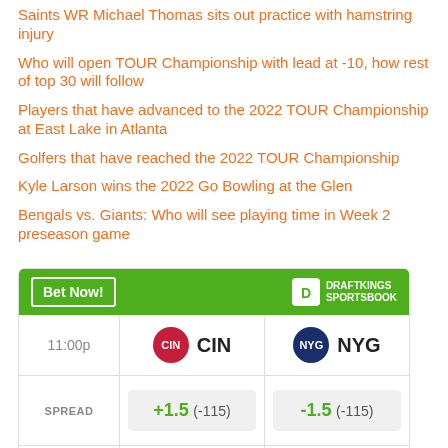Saints WR Michael Thomas sits out practice with hamstring injury
Who will open TOUR Championship with lead at -10, how rest of top 30 will follow
Players that have advanced to the 2022 TOUR Championship at East Lake in Atlanta
Golfers that have reached the 2022 TOUR Championship
Kyle Larson wins the 2022 Go Bowling at the Glen
Bengals vs. Giants: Who will see playing time in Week 2 preseason game
|  | CIN | NYG |
| --- | --- | --- |
| 11:00p | CIN | NYG |
| SPREAD | +1.5 (-115) | -1.5 (-115) |
| MONEY | ... | ... |